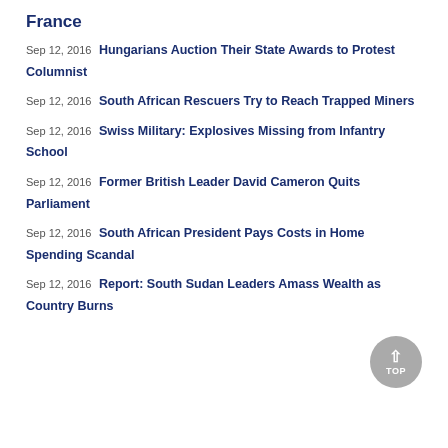France
Sep 12, 2016 Hungarians Auction Their State Awards to Protest Columnist
Sep 12, 2016 South African Rescuers Try to Reach Trapped Miners
Sep 12, 2016 Swiss Military: Explosives Missing from Infantry School
Sep 12, 2016 Former British Leader David Cameron Quits Parliament
Sep 12, 2016 South African President Pays Costs in Home Spending Scandal
Sep 12, 2016 Report: South Sudan Leaders Amass Wealth as Country Burns